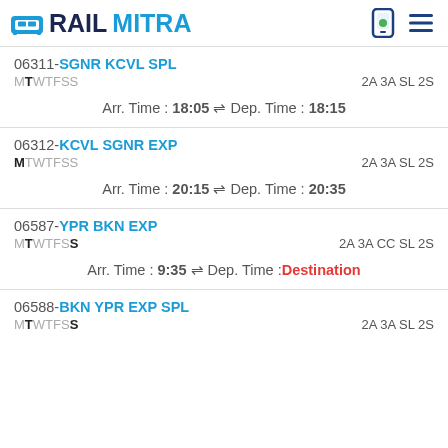RAILMITRA
06311-SGNR KCVL SPL
MTWTFSS   2A 3A SL 2S
Arr. Time : 18:05 ⇌ Dep. Time : 18:15
06312-KCVL SGNR EXP
MTWTFSS   2A 3A SL 2S
Arr. Time : 20:15 ⇌ Dep. Time : 20:35
06587-YPR BKN EXP
MTWTFSS   2A 3A CC SL 2S
Arr. Time : 9:35 ⇌ Dep. Time : Destination
06588-BKN YPR EXP SPL
MTWTFSS   2A 3A SL 2S